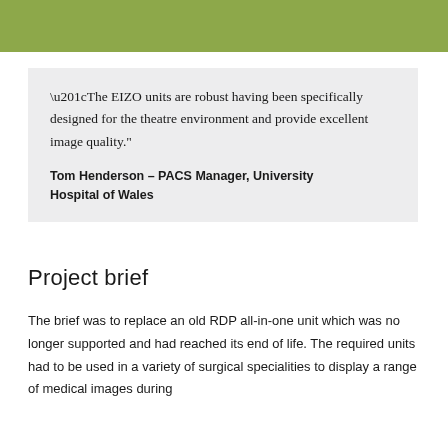“The EIZO units are robust having been specifically designed for the theatre environment and provide excellent image quality."

Tom Henderson – PACS Manager, University Hospital of Wales
Project brief
The brief was to replace an old RDP all-in-one unit which was no longer supported and had reached its end of life. The required units had to be used in a variety of surgical specialities to display a range of medical images during